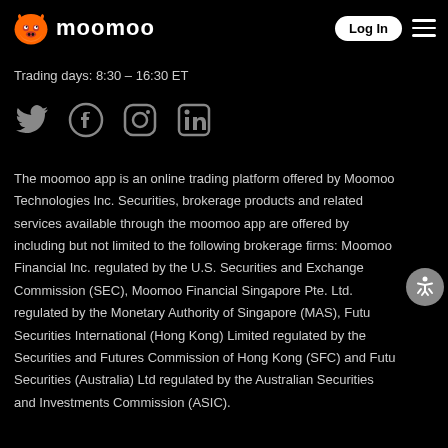moomoo — Log In
Trading days: 8:30 – 16:30 ET
[Figure (other): Social media icons: Twitter, Facebook, Instagram, LinkedIn]
The moomoo app is an online trading platform offered by Moomoo Technologies Inc. Securities, brokerage products and related services available through the moomoo app are offered by including but not limited to the following brokerage firms: Moomoo Financial Inc. regulated by the U.S. Securities and Exchange Commission (SEC), Moomoo Financial Singapore Pte. Ltd. regulated by the Monetary Authority of Singapore (MAS), Futu Securities International (Hong Kong) Limited regulated by the Securities and Futures Commission of Hong Kong (SFC) and Futu Securities (Australia) Ltd regulated by the Australian Securities and Investments Commission (ASIC).